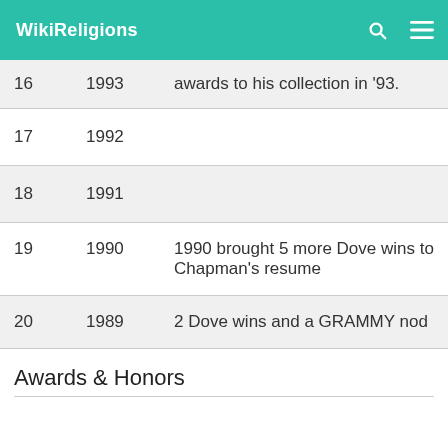WikiReligions
| # | Year | Description |
| --- | --- | --- |
| 16 | 1993 | awards to his collection in '93. |
| 17 | 1992 |  |
| 18 | 1991 |  |
| 19 | 1990 | 1990 brought 5 more Dove wins to Chapman's resume |
| 20 | 1989 | 2 Dove wins and a GRAMMY nod |
Awards & Honors